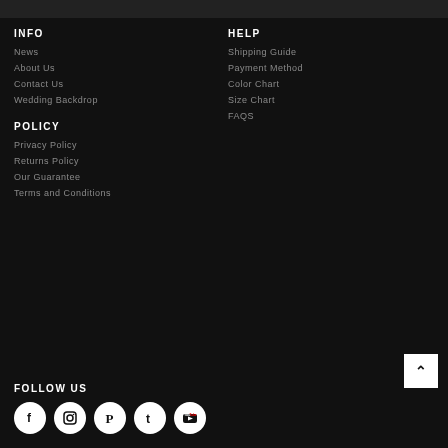INFO
News
About Us
Contact Us
Wedding Backdrop
HELP
Shipping Guide
Payment Method
Color Chart
Size Chart
FAQS
POLICY
Privacy Policy
Returns Policy
Our Guarantee
Terms and Conditions
FOLLOW US
[Figure (illustration): Social media icons: Facebook, Instagram, Pinterest, Tumblr, YouTube]